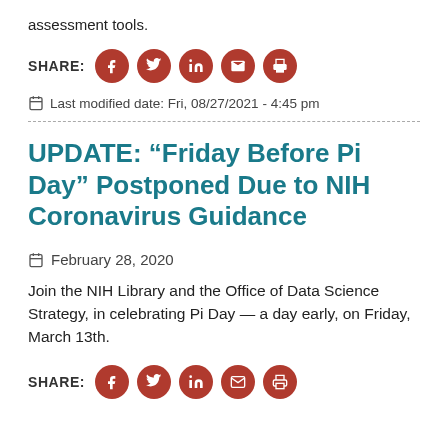assessment tools.
SHARE:
Last modified date: Fri, 08/27/2021 - 4:45 pm
UPDATE: “Friday Before Pi Day” Postponed Due to NIH Coronavirus Guidance
February 28, 2020
Join the NIH Library and the Office of Data Science Strategy, in celebrating Pi Day — a day early, on Friday, March 13th.
SHARE: